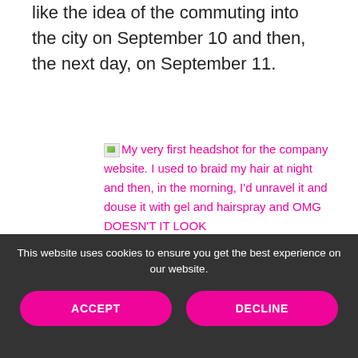like the idea of the commuting into the city on September 10 and then, the next day, on September 11.
[Figure (photo): Broken image placeholder with alt text: My very first headshot for the company website. I used to braid my hair at night and then, in the morning, I'd unravel it and douse it with gel and hairspray and OMG DOESN'T IT LOOK]
This website uses cookies to ensure you get the best experience on our website. ACCEPT DECLINE